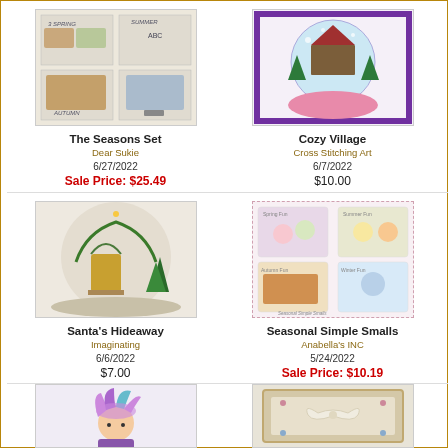[Figure (photo): Cross stitch pattern - The Seasons Set with four seasonal panels]
The Seasons Set
Dear Sukie
6/27/2022
Sale Price: $25.49
[Figure (photo): Cross stitch pattern - Cozy Village snow globe design]
Cozy Village
Cross Stitching Art
6/7/2022
$10.00
[Figure (photo): Cross stitch pattern - Santa's Hideaway circular cottage scene]
Santa's Hideaway
Imaginating
6/6/2022
$7.00
[Figure (photo): Cross stitch pattern - Seasonal Simple Smalls four pillow designs]
Seasonal Simple Smalls
Anabella's INC
5/24/2022
Sale Price: $10.19
[Figure (photo): Cross stitch pattern - partial view of girl with colorful hair]
[Figure (photo): Cross stitch pattern - partial view of framed design with bow]